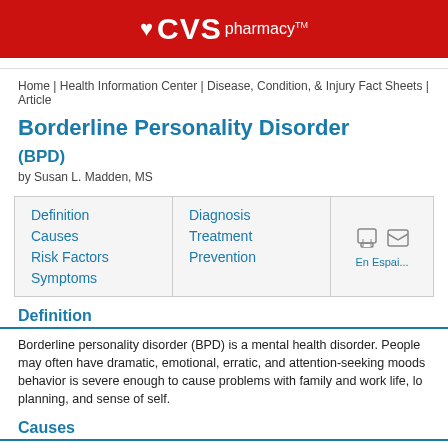CVS pharmacy
Home | Health Information Center | Disease, Condition, & Injury Fact Sheets | Article
Borderline Personality Disorder
(BPD)
by Susan L. Madden, MS
Definition
Causes
Risk Factors
Symptoms
Diagnosis
Treatment
Prevention
En Espai...
Definition
Borderline personality disorder (BPD) is a mental health disorder. People may often have dramatic, emotional, erratic, and attention-seeking moods behavior is severe enough to cause problems with family and work life, lo planning, and sense of self.
Causes
The causes of BPD are not fully understood. It is likely due to a mix of ge...